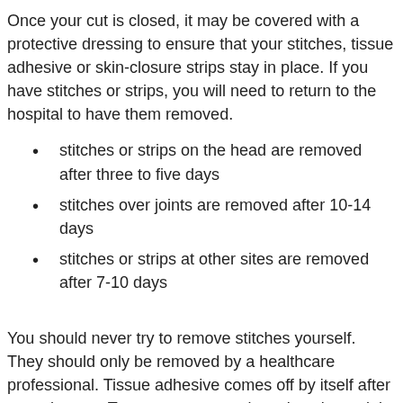Once your cut is closed, it may be covered with a protective dressing to ensure that your stitches, tissue adhesive or skin-closure strips stay in place. If you have stitches or strips, you will need to return to the hospital to have them removed.
stitches or strips on the head are removed after three to five days
stitches over joints are removed after 10-14 days
stitches or strips at other sites are removed after 7-10 days
You should never try to remove stitches yourself. They should only be removed by a healthcare professional. Tissue adhesive comes off by itself after a week or so. To prevent tetanus (a serious bacterial infection), you may be given a tetanus booster injection. If it's suspected that you are at risk of developing